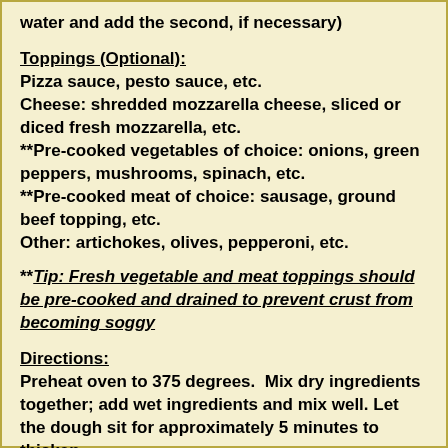water and add the second, if necessary)
Toppings (Optional):
Pizza sauce, pesto sauce, etc.
Cheese: shredded mozzarella cheese, sliced or diced fresh mozzarella, etc.
**Pre-cooked vegetables of choice: onions, green peppers, mushrooms, spinach, etc.
**Pre-cooked meat of choice: sausage, ground beef topping, etc.
Other: artichokes, olives, pepperoni, etc.
**Tip: Fresh vegetable and meat toppings should be pre-cooked and drained to prevent crust from becoming soggy
Directions:
Preheat oven to 375 degrees.  Mix dry ingredients together; add wet ingredients and mix well. Let the dough sit for approximately 5 minutes to thicken.
Spread dough on a lightly oiled large pizza pan or